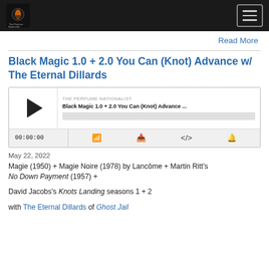The Perfume Nationalist [logo] [hamburger menu]
Read More
Black Magic 1.0 + 2.0 You Can (Knot) Advance w/ The Eternal Dillards
[Figure (other): Podcast player widget for 'The Perfume Nationalist' showing episode 'Black Magic 1.0 + 2.0 You Can (Knot) Advance ...' with play button, progress bar, timestamp 00:00:00, and control icons]
May 22, 2022
Magie (1950) + Magie Noire (1978) by Lancôme + Martin Ritt's No Down Payment (1957) +
David Jacobs's Knots Landing seasons 1 + 2
with The Eternal Dillards of Ghost Jail